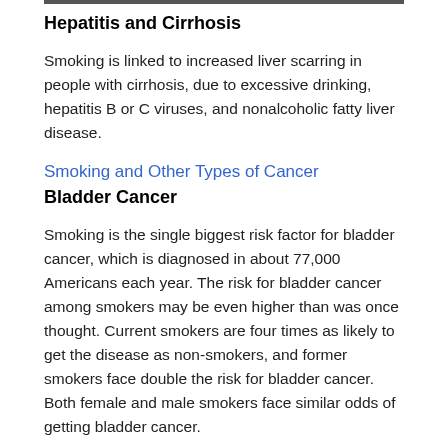Hepatitis and Cirrhosis
Smoking is linked to increased liver scarring in people with cirrhosis, due to excessive drinking, hepatitis B or C viruses, and nonalcoholic fatty liver disease.
Smoking and Other Types of Cancer
Bladder Cancer
Smoking is the single biggest risk factor for bladder cancer, which is diagnosed in about 77,000 Americans each year. The risk for bladder cancer among smokers may be even higher than was once thought. Current smokers are four times as likely to get the disease as non-smokers, and former smokers face double the risk for bladder cancer. Both female and male smokers face similar odds of getting bladder cancer.